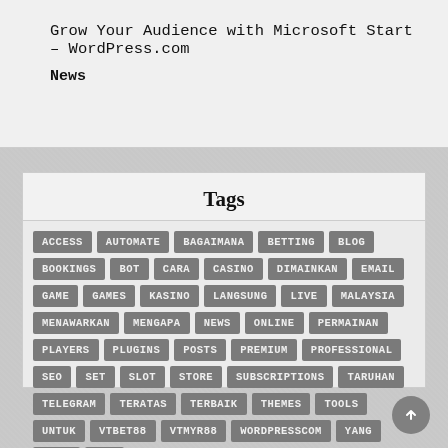Grow Your Audience with Microsoft Start – WordPress.com
News
Tags
ACCESS
AUTOMATE
BAGAIMANA
BETTING
BLOG
BOOKINGS
BOT
CARA
CASINO
DIMAINKAN
EMAIL
GAME
GAMES
KASINO
LANGSUNG
LIVE
MALAYSIA
MENAWARKAN
MENGAPA
NEWS
ONLINE
PERMAINAN
PLAYERS
PLUGINS
POSTS
PREMIUM
PROFESSIONAL
SEO
SET
SLOT
STORE
SUBSCRIPTIONS
TARUHAN
TELEGRAM
TERATAS
TERBAIK
THEMES
TOOLS
UNTUK
VTBET88
VTMYR88
WORDPRESSCOM
YANG
ขนตำ
บาท